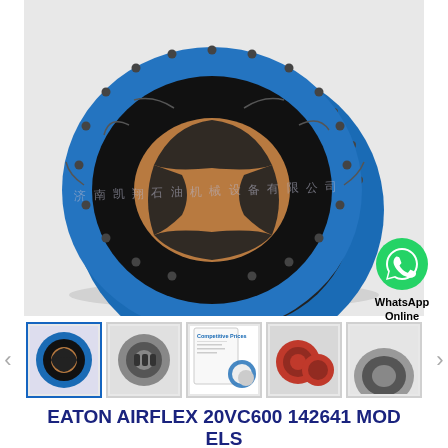[Figure (photo): Eaton Airflex 20VC600 industrial clutch/brake assembly with blue outer ring and black friction elements, shown from slightly above. Watermark text in Chinese characters overlaid on the image.]
[Figure (illustration): WhatsApp logo (green circle with phone handset) with text 'WhatsApp Online' below it, positioned in the lower-right of the main image area.]
[Figure (photo): Thumbnail row with 5 product images: (1) Eaton Airflex clutch assembly - selected/highlighted, (2) Clutch element parts, (3) Competitive Prices document/parts diagram, (4) Red industrial clutch assemblies, (5) Partial view of a seal/ring component. Navigation arrows on left and right.]
EATON AIRFLEX 20VC600 142641 MODELS
Need a CAD or 3D Model?
Contact Now